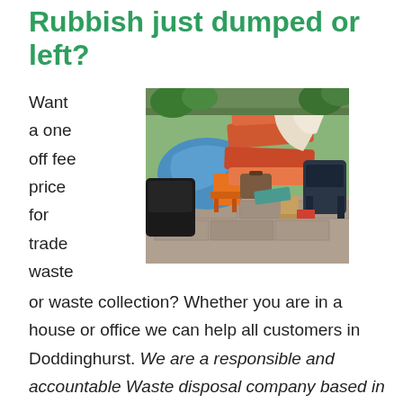Rubbish just dumped or left?
Want a one off fee price for trade waste
[Figure (photo): Outdoor scene showing a large pile of discarded household items and furniture including chairs, mattresses, foam cushions, bags, and other rubbish dumped together on a paved area with plants in the background.]
or waste collection? Whether you are in a house or office we can help all customers in Doddinghurst. We are a responsible and accountable Waste disposal company based in Essex. We do all the loading and clearing up so you don't have to. Whatever amount of rubbish you have, our two man teams can safely co... and dispose of it. Stuff that we dispose of include broken